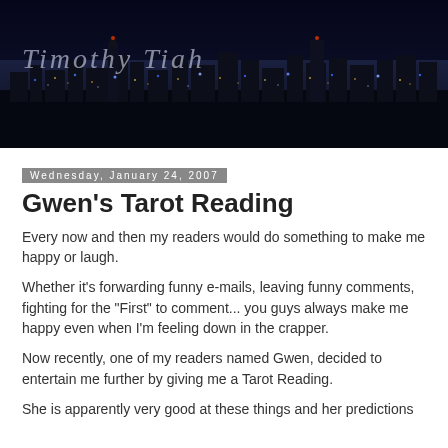[Figure (photo): Night cityscape banner with city lights and buildings at night, with blog title 'Timothy Tiah' overlaid in light gray italic text]
Wednesday, January 24, 2007
Gwen's Tarot Reading
Every now and then my readers would do something to make me happy or laugh.
Whether it's forwarding funny e-mails, leaving funny comments, fighting for the "First" to comment... you guys always make me happy even when I'm feeling down in the crapper.
Now recently, one of my readers named Gwen, decided to entertain me further by giving me a Tarot Reading.
She is apparently very good at these things and her predictions